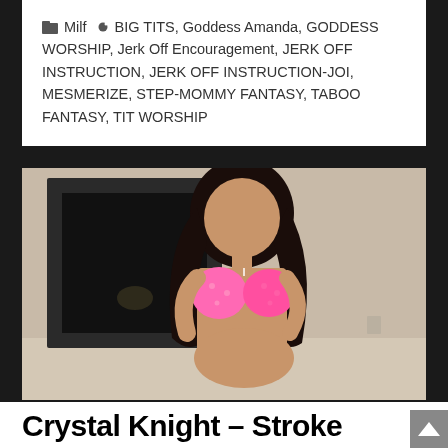Milf  BIG TITS, Goddess Amanda, GODDESS WORSHIP, Jerk Off Encouragement, JERK OFF INSTRUCTION, JERK OFF INSTRUCTION-JOI, MESMERIZE, STEP-MOMMY FANTASY, TABOO FANTASY, TIT WORSHIP
[Figure (photo): Woman in pink bikini top posing in front of a dark fireplace]
Crystal Knight – Stroke